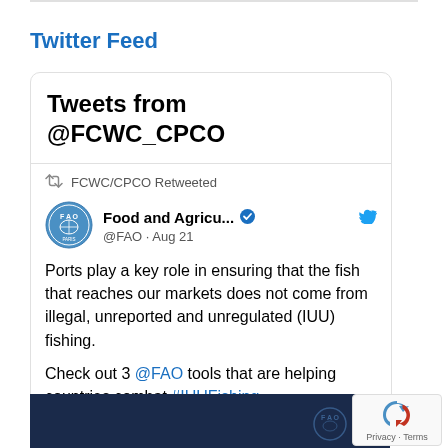Twitter Feed
Tweets from @FCWC_CPCO
FCWC/CPCO Retweeted
Food and Agricu... @FAO · Aug 21
Ports play a key role in ensuring that the fish that reaches our markets does not come from illegal, unreported and unregulated (IUU) fishing.
Check out 3 @FAO tools that are helping countries combat #IUUFishing 👇
[Figure (screenshot): Dark blue image preview at the bottom of the tweet with an FAO logo watermark]